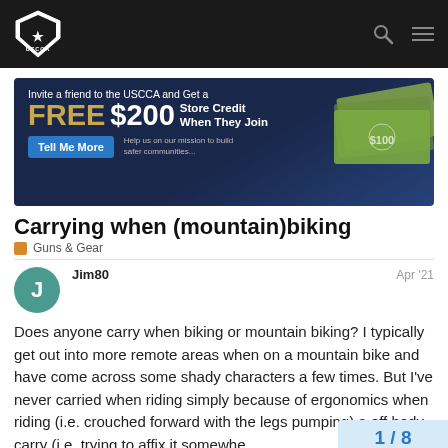USCCA
[Figure (infographic): USCCA ad banner: Invite a friend to the USCCA and Get a FREE $200 Store Credit When They Join. Tell Me More button. Help us on our mission to build safer communities... Money bills image on right.]
Carrying when (mountain)biking
Guns & Gear
Jim80
Apr '21
Does anyone carry when biking or mountain biking? I typically get out into more remote areas when on a mountain bike and have come across some shady characters a few times. But I've never carried when riding simply because of ergonomics when riding (i.e. crouched forward with the legs pumping) a and off body carry (i.e. trying to affix it somewhe
1 / 8